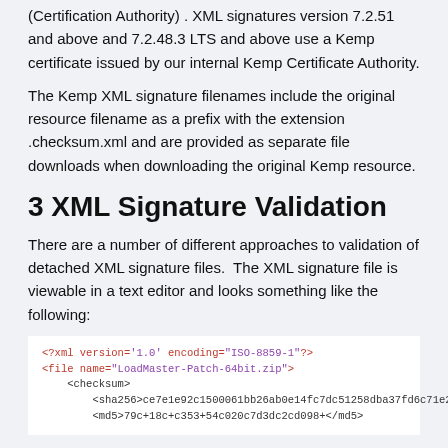(Certification Authority) . XML signatures version 7.2.51 and above and 7.2.48.3 LTS and above use a Kemp certificate issued by our internal Kemp Certificate Authority.
The Kemp XML signature filenames include the original resource filename as a prefix with the extension .checksum.xml and are provided as separate file downloads when downloading the original Kemp resource.
3 XML Signature Validation
There are a number of different approaches to validation of detached XML signature files.  The XML signature file is viewable in a text editor and looks something like the following:
<?xml version='1.0' encoding='ISO-8859-1'?>
<file name="LoadMaster-Patch-64bit.zip">
  <checksum>
    <sha256>ce7e1e92c1500061bb26ab0e14fc7dc51258dba37fd6c71e28e46e61ac2e41ba</sha256>
    <md5>79c+18c+c353+54c020c7d3dc2cd098+</md5>